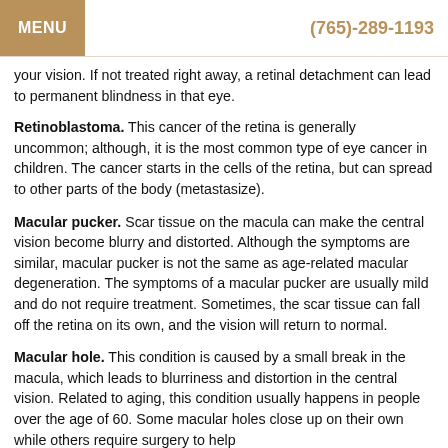MENU | (765)-289-1193
your vision. If not treated right away, a retinal detachment can lead to permanent blindness in that eye.
Retinoblastoma. This cancer of the retina is generally uncommon; although, it is the most common type of eye cancer in children. The cancer starts in the cells of the retina, but can spread to other parts of the body (metastasize).
Macular pucker. Scar tissue on the macula can make the central vision become blurry and distorted. Although the symptoms are similar, macular pucker is not the same as age-related macular degeneration. The symptoms of a macular pucker are usually mild and do not require treatment. Sometimes, the scar tissue can fall off the retina on its own, and the vision will return to normal.
Macular hole. This condition is caused by a small break in the macula, which leads to blurriness and distortion in the central vision. Related to aging, this condition usually happens in people over the age of 60. Some macular holes close up on their own while others require surgery to help...